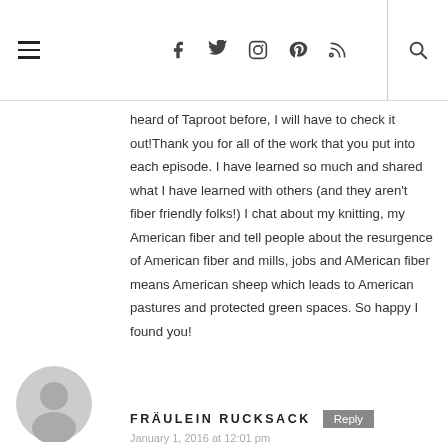Navigation header with hamburger menu, social icons (Facebook, Twitter, Instagram, Pinterest, RSS), and search icon
heard of Taproot before, I will have to check it out!Thank you for all of the work that you put into each episode. I have learned so much and shared what I have learned with others (and they aren't fiber friendly folks!) I chat about my knitting, my American fiber and tell people about the resurgence of American fiber and mills, jobs and AMerican fiber means American sheep which leads to American pastures and protected green spaces. So happy I found you!
FRÄULEIN RUCKSACK
January 1, 2016 at 12:01 pm